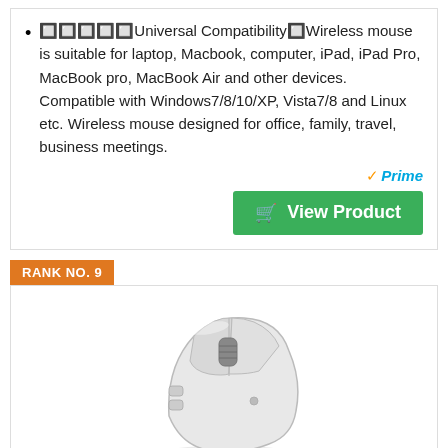🔲🔲🔲🔲🔲Universal Compatibility🔲Wireless mouse is suitable for laptop, Macbook, computer, iPad, iPad Pro, MacBook pro, MacBook Air and other devices. Compatible with Windows7/8/10/XP, Vista7/8 and Linux etc. Wireless mouse designed for office, family, travel, business meetings.
[Figure (logo): Amazon Prime badge with orange checkmark and blue italic 'Prime' text]
[Figure (other): Green 'View Product' button with shopping cart icon]
RANK NO. 9
[Figure (photo): White/light gray wireless computer mouse (Logitech MX Master style) shown from a three-quarter angle]